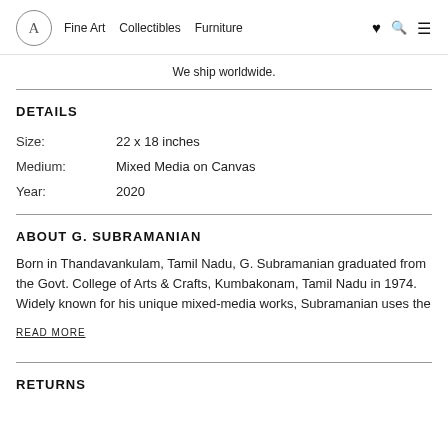A  Fine Art  Collectibles  Furniture
We ship worldwide.
DETAILS
| Size: | 22 x 18 inches |
| Medium: | Mixed Media on Canvas |
| Year: | 2020 |
ABOUT G. SUBRAMANIAN
Born in Thandavankulam, Tamil Nadu, G. Subramanian graduated from the Govt. College of Arts & Crafts, Kumbakonam, Tamil Nadu in 1974. Widely known for his unique mixed-media works, Subramanian uses the
READ MORE
RETURNS